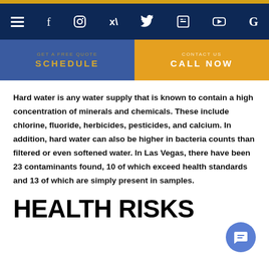Navigation bar with hamburger menu, Facebook, Instagram, Twitter, LinkedIn, YouTube, Google icons
SCHEDULE | CALL NOW
Hard water is any water supply that is known to contain a high concentration of minerals and chemicals. These include chlorine, fluoride, herbicides, pesticides, and calcium. In addition, hard water can also be higher in bacteria counts than filtered or even softened water. In Las Vegas, there have been 23 contaminants found, 10 of which exceed health standards and 13 of which are simply present in samples.
HEALTH RISKS